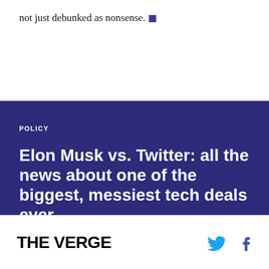not just debunked as nonsense. ■
POLICY
Elon Musk vs. Twitter: all the news about one of the biggest, messiest tech deals ever
THE VERGE